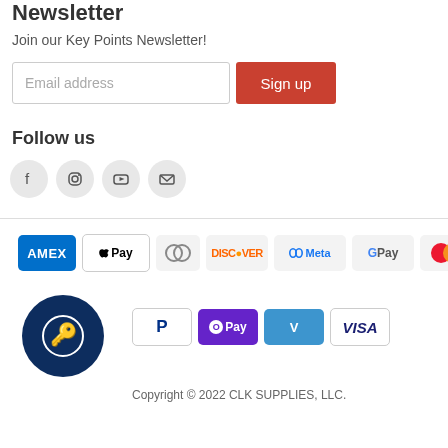Newsletter
Join our Key Points Newsletter!
[Figure (screenshot): Email address input field and Sign up button]
Follow us
[Figure (infographic): Social media icons: Facebook, Instagram, YouTube, Email]
[Figure (infographic): Payment method logos: AMEX, Apple Pay, Diners Club, Discover, Meta Pay, Google Pay, Mastercard, PayPal, OPay, Venmo, Visa, and CLK Supplies logo]
Copyright © 2022 CLK SUPPLIES, LLC.